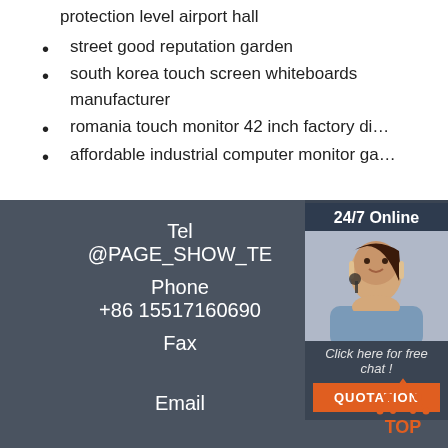protection level airport hall
street good reputation garden
south korea touch screen whiteboards manufacturer
romania touch monitor 42 inch factory di…
affordable industrial computer monitor ga…
Tel
@PAGE_SHOW_TE
Phone
+86 15517160690
Fax

Email
[Figure (infographic): 24/7 Online chat widget with headset-wearing woman, 'Click here for free chat!' text, and QUOTATION button]
[Figure (logo): TOP logo with orange triangle/dots design]